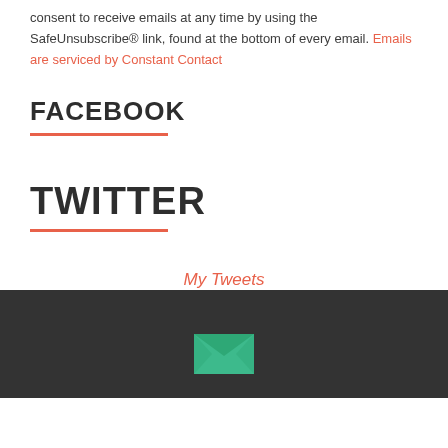consent to receive emails at any time by using the SafeUnsubscribe® link, found at the bottom of every email. Emails are serviced by Constant Contact
FACEBOOK
TWITTER
My Tweets
[Figure (illustration): Dark footer bar with a green envelope/email icon centered at the bottom]